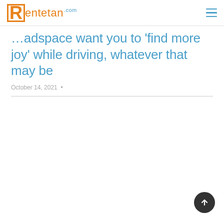Rentetan.com
…adspace want you to 'find more joy' while driving, whatever that may be
October 14, 2021  •